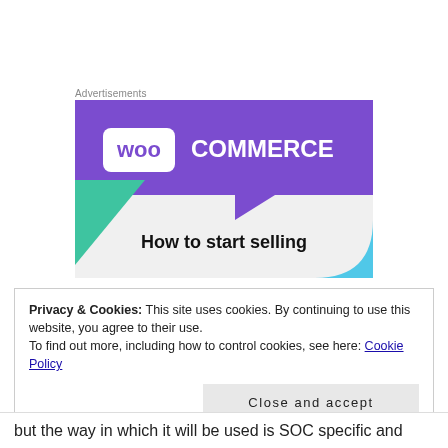Advertisements
[Figure (illustration): WooCommerce advertisement banner showing the WooCommerce logo on a purple background with geometric teal and blue shapes, and bold text 'How to start selling']
Privacy & Cookies: This site uses cookies. By continuing to use this website, you agree to their use.
To find out more, including how to control cookies, see here: Cookie Policy
Close and accept
but the way in which it will be used is SOC specific and